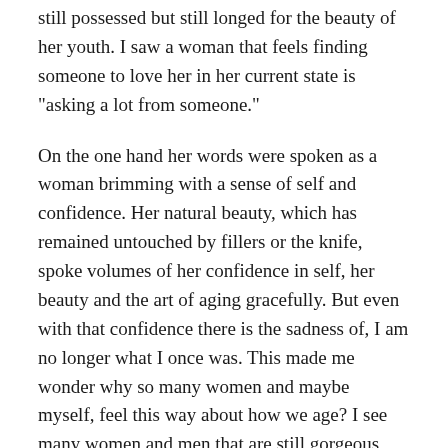still possessed but still longed for the beauty of her youth. I saw a woman that feels finding someone to love her in her current state is "asking a lot from someone."

On the one hand her words were spoken as a woman brimming with a sense of self and confidence. Her natural beauty, which has remained untouched by fillers or the knife, spoke volumes of her confidence in self, her beauty and the art of aging gracefully. But even with that confidence there is the sadness of, I am no longer what I once was. This made me wonder why so many women and maybe myself, feel this way about how we age? I see many women and men that are still gorgeous and stunning at 50, 60, 70, 80 and beyond. And it's not all about looks in